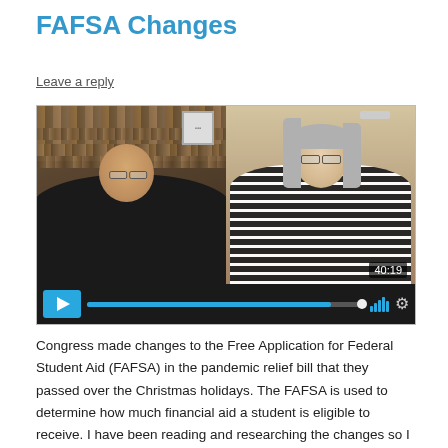FAFSA Changes
Leave a reply
[Figure (screenshot): Video player screenshot showing two people in a split-screen video call. Left person is a bald man with glasses in front of a bookshelf. Right person is a woman with long gray hair and glasses wearing a striped top. Video timestamp shows 40:19. Video controls bar at bottom shows play button, progress bar (mostly complete), volume bars, and settings gear icon.]
Congress made changes to the Free Application for Federal Student Aid (FAFSA) in the pandemic relief bill that they passed over the Christmas holidays. The FAFSA is used to determine how much financial aid a student is eligible to receive. I have been reading and researching the changes so I could write a piece to explain the specific differences and how they might impact families. I came across an interview with